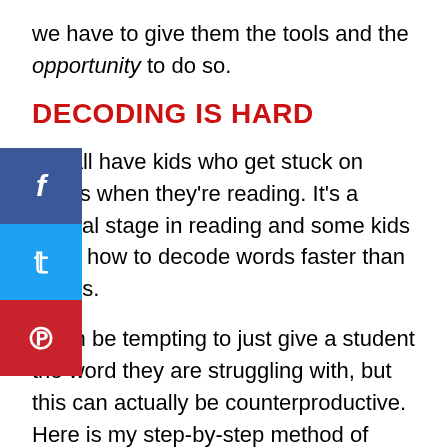we have to give them the tools and the opportunity to do so.
DECODING IS HARD
We all have kids who get stuck on words when they're reading. It's a normal stage in reading and some kids learn how to decode words faster than others.
It can be tempting to just give a student the word they are struggling with, but this can actually be counterproductive. Here is my step-by-step method of helping kids when they get stuck on a word.